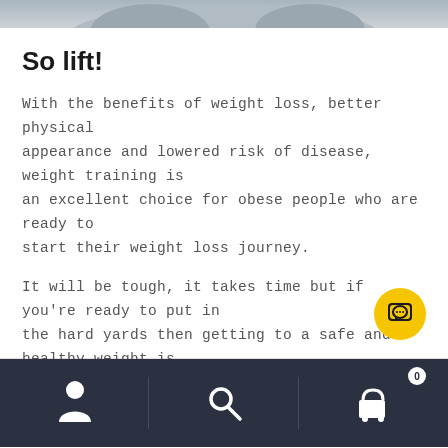[Figure (photo): Top strip showing a cropped photo of people, likely at a gym or fitness setting]
So lift!
With the benefits of weight loss, better physical appearance and lowered risk of disease, weight training is an excellent choice for obese people who are ready to start their weight loss journey.
It will be tough, it takes time but if you're ready to put in the hard yards then getting to a safe and healthy weight is possible.
[Figure (other): Yellow circular chat/message button with speech bubble icon]
[Figure (other): Dark bottom navigation bar with person icon, search icon, and cart icon with badge showing 0]